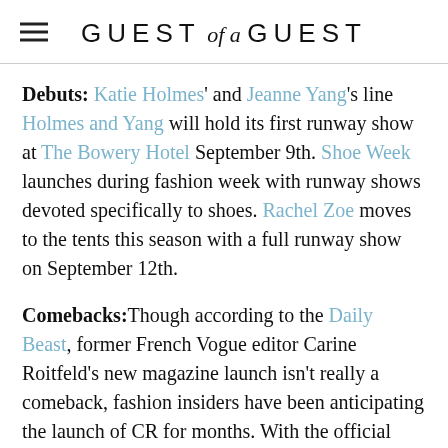GUEST of a GUEST
Debuts: Katie Holmes' and Jeanne Yang's line Holmes and Yang will hold its first runway show at The Bowery Hotel September 9th. Shoe Week launches during fashion week with runway shows devoted specifically to shoes. Rachel Zoe moves to the tents this season with a full runway show on September 12th.
Comebacks: Though according to the Daily Beast, former French Vogue editor Carine Roitfeld's new magazine launch isn't really a comeback, fashion insiders have been anticipating the launch of CR for months. With the official launch party set to take place tomorrow evening at The Frick, the debut of CR marks the first real recognition...